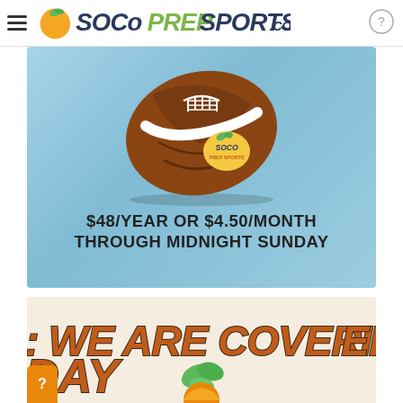SOCoPrepSports.com
[Figure (photo): Football with SOCo Prep Sports logo on it, on a light blue gradient background, with offer text: $48/YEAR OR $4.50/MONTH through midnight Sunday]
[Figure (photo): Partial text banner on tan/beige background showing 'WE ARE COVERING THIS' in large bold italic orange letters, with partial word 'DAY' at bottom and decorative orange/green leaf elements]